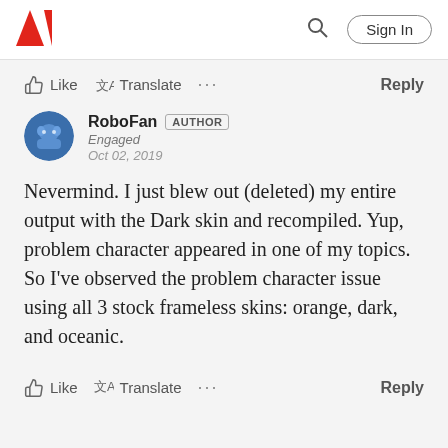Adobe community page header with logo, search icon, and Sign In button
Like  Translate  ...  Reply
[Figure (photo): User avatar for RoboFan: circular blue profile photo]
RoboFan  AUTHOR
Engaged
Oct 02, 2019
Nevermind. I just blew out (deleted) my entire output with the Dark skin and recompiled. Yup, problem character appeared in one of my topics. So I've observed the problem character issue using all 3 stock frameless skins: orange, dark, and oceanic.
Like  Translate  ...  Reply